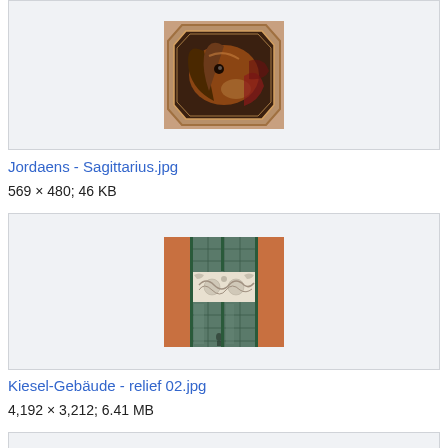[Figure (photo): A Baroque-style painting of a horse's head in an ornate octagonal gilded frame, brown and orange tones]
Jordaens - Sagittarius.jpg
569 × 480; 46 KB
[Figure (photo): A building facade showing a decorative white relief frieze with mythological figures between orange/terracotta walls and glass panels]
Kiesel-Gebäude - relief 02.jpg
4,192 × 3,212; 6.41 MB